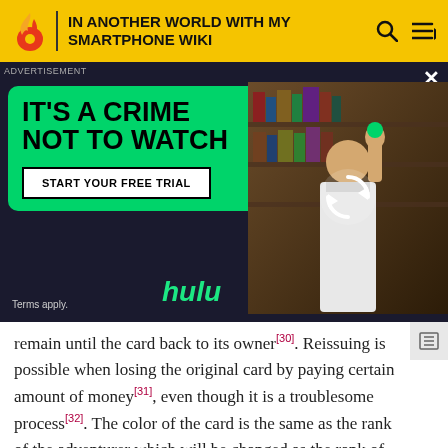IN ANOTHER WORLD WITH MY SMARTPHONE WIKI
[Figure (screenshot): Hulu advertisement: 'IT'S A CRIME NOT TO WATCH' with green banner, START YOUR FREE TRIAL button, hulu logo, and a person holding something in front of bookshelves]
remain until the card back to its owner[30]. Reissuing is possible when losing the original card by paying certain amount of money[31], even though it is a troublesome process[32]. The color of the card is the same as the rank of the adventurer which will be changed as the rank of the holder upgraded[33]. The card is needed for taking reward after finishing a request[34] or for withdrawing money from the guild[35][36]. When receiving a title, the card will also showed the symbol of the title[37]. After